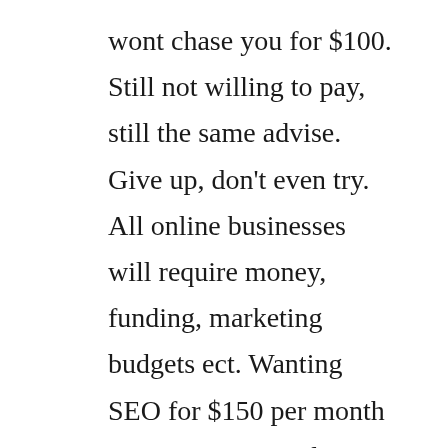wont chase you for $100. Still not willing to pay, still the same advise. Give up, don't even try. All online businesses will require money, funding, marketing budgets ect. Wanting SEO for $150 per month just wont cut it today. Wanting to make $10000 per week and wanting to only pay $100 per month is like wanting to win the lottery, it won't happen.

You need to change your mindset and